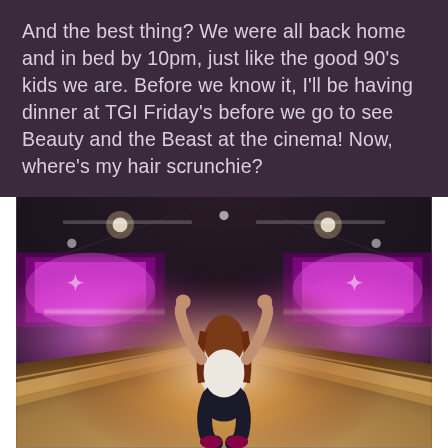And the best thing? We were all back home and in bed by 10pm, just like the good 90's kids we are. Before we know it, I'll be having dinner at TGI Friday's before we go to see Beauty and the Beast at the cinema! Now, where's my hair scrunchie?
[Figure (photo): A mirrored/symmetrical photo of a person at a bowling alley, viewed from behind, arms raised. The alley lanes extend forward, with pink/purple neon lighting and a bright bowling alley atmosphere. The image is horizontally mirrored creating a symmetrical effect.]